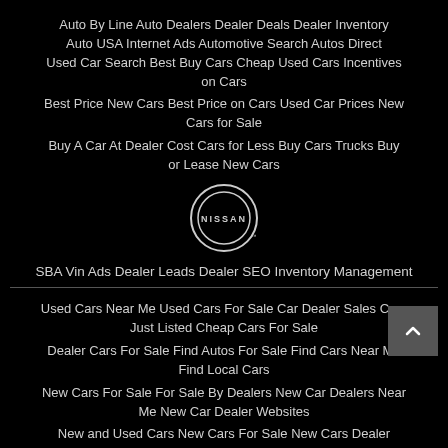Auto By Line Auto Dealers Dealer Deals Dealer Inventory Auto USA Internet Ads Automotive Search Autos Direct Used Car Search Best Buy Cars Cheap Used Cars Incentives on Cars
Best Price New Cars Best Price on Cars Used Car Prices New Cars for Sale
Buy A Car At Dealer Cost Cars for Less Buy Cars Trucks Buy or Lease New Cars
[Figure (logo): Nissan logo — circle with NISSAN text in center]
SBA Vin Ads Dealer Leads Dealer SEO Inventory Management
Used Cars Near Me Used Cars For Sale Car Dealer Sales Cars Just Listed Cheap Cars For Sale
Dealer Cars For Sale Find Autos For Sale Find Cars Near Me Find Local Cars
New Cars For Sale For Sale By Dealers New Car Dealers Near Me New Car Dealer Websites
New and Used Cars New Cars For Sale New Cars Dealer